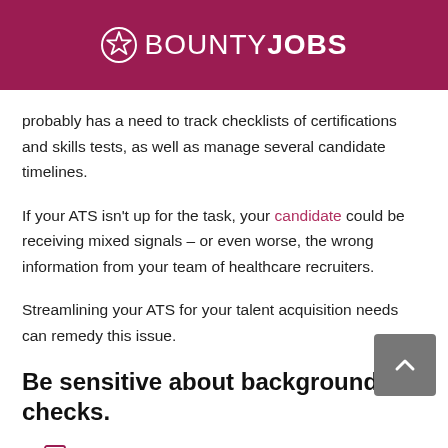BOUNTYJOBS
probably has a need to track checklists of certifications and skills tests, as well as manage several candidate timelines.
If your ATS isn't up for the task, your candidate could be receiving mixed signals – or even worse, the wrong information from your team of healthcare recruiters.
Streamlining your ATS for your talent acquisition needs can remedy this issue.
Be sensitive about background checks.